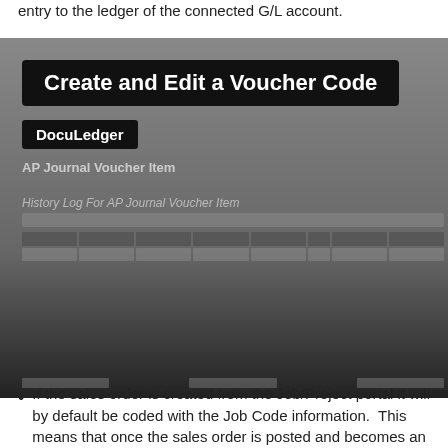entry to the ledger of the connected G/L account.
[Figure (screenshot): Screenshot of DocuLedger application showing 'Create and Edit a Voucher Code' tooltip over an AP Journal Voucher Item screen with a history log table.]
If the sales order is created from the Job/Project portal it will by default be coded with the Job Code information.  This means that once the sales order is posted and becomes an